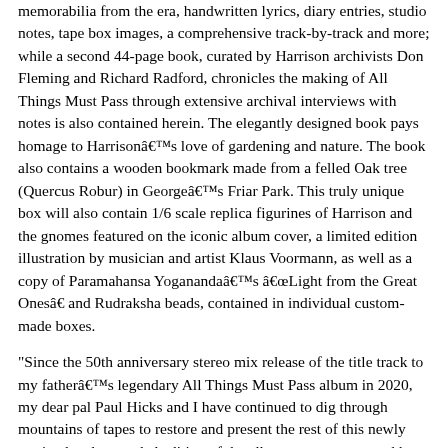memorabilia from the era, handwritten lyrics, diary entries, studio notes, tape box images, a comprehensive track-by-track and more; while a second 44-page book, curated by Harrison archivists Don Fleming and Richard Radford, chronicles the making of All Things Must Pass through extensive archival interviews with notes is also contained herein. The elegantly designed book pays homage to Harrison’s love of gardening and nature. The book also contains a wooden bookmark made from a felled Oak tree (Quercus Robur) in George’s Friar Park. This truly unique box will also contain 1/6 scale replica figurines of Harrison and the gnomes featured on the iconic album cover, a limited edition illustration by musician and artist Klaus Voormann, as well as a copy of Paramahansa Yogananda’s “Light from the Great Ones” and Rudraksha beads, contained in individual custom-made boxes.
"Since the 50th anniversary stereo mix release of the title track to my father’s legendary All Things Must Pass album in 2020, my dear pal Paul Hicks and I have continued to dig through mountains of tapes to restore and present the rest of this newly remixed and expanded edition of the album you now see and hear before you,” says Dhani Harrison. “Bringing greater sonic clarity to this record was always one of my father’s wishes and it was something we were working on together right up until he passed in 2001. Now, 20 years later, with the help of new technology and the